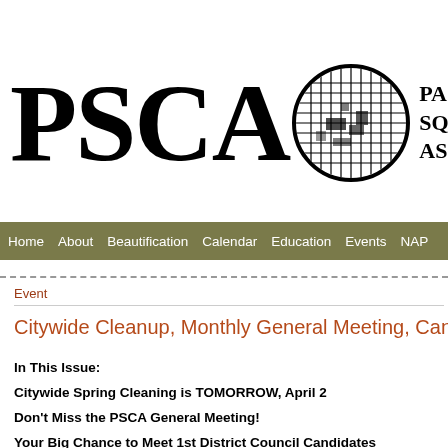[Figure (logo): PSCA logo with large serif text 'PSCA', a circular map/grid graphic, and text 'PAS SQU ASS' to the right]
Home  About  Beautification  Calendar  Education  Events  NAP
Event
Citywide Cleanup, Monthly General Meeting, Candidates'
In This Issue:
Citywide Spring Cleaning is TOMORROW, April 2
Don't Miss the PSCA General Meeting!
Your Big Chance to Meet 1st District Council Candidates
We Need Your Help for Tree Planting on April 16
Get your tickets for Flavors of the Ave on April 30
…and more!

But first, some very special thanks…